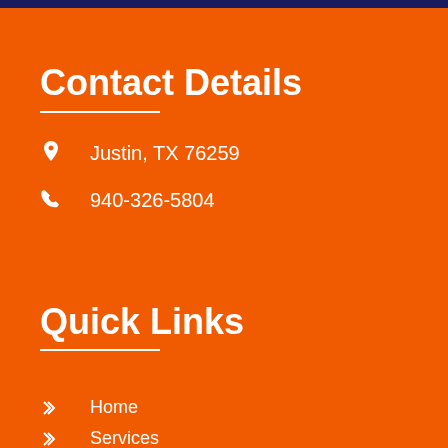Contact Details
Justin, TX 76259
940-326-5804
Quick Links
Home
Services
About